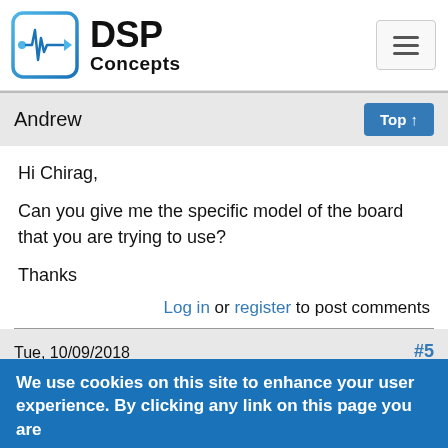[Figure (logo): DSP Concepts logo with waveform icon and text 'DSP Concepts']
Andrew
Top ↑
Hi Chirag,
Can you give me the specific model of the board that you are trying to use?
Thanks
Log in or register to post comments
Tue, 10/09/2018
4:47pm
#5
We use cookies on this site to enhance your user experience. By clicking any link on this page you are